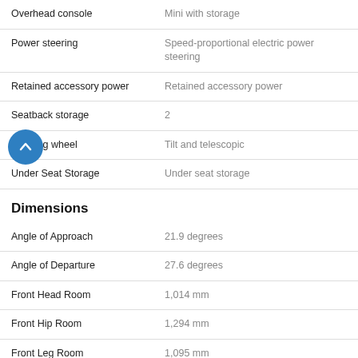| Feature | Value |
| --- | --- |
| Overhead console | Mini with storage |
| Power steering | Speed-proportional electric power steering |
| Retained accessory power | Retained accessory power |
| Seatback storage | 2 |
| Steering wheel | Tilt and telescopic |
| Under Seat Storage | Under seat storage |
Dimensions
| Feature | Value |
| --- | --- |
| Angle of Approach | 21.9 degrees |
| Angle of Departure | 27.6 degrees |
| Front Head Room | 1,014 mm |
| Front Hip Room | 1,294 mm |
| Front Leg Room | 1,095 mm |
| Front Shoulder Room | 1,420 mm |
| Front track | 1,562 mm |
| Overall height | 1,684 mm |
| Overall Length | 4,524 mm |